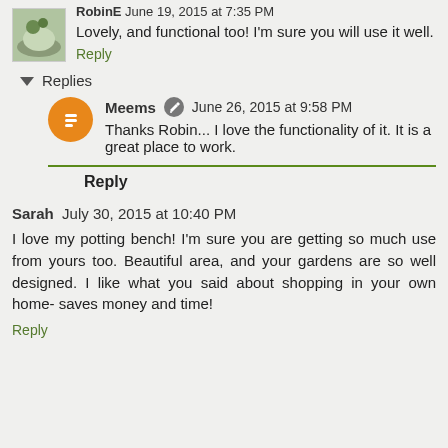RobinE June 19, 2015 at 7:35 PM
Lovely, and functional too! I'm sure you will use it well.
Reply
▼ Replies
Meems  June 26, 2015 at 9:58 PM
Thanks Robin... I love the functionality of it. It is a great place to work.
Reply
Sarah  July 30, 2015 at 10:40 PM
I love my potting bench! I'm sure you are getting so much use from yours too. Beautiful area, and your gardens are so well designed. I like what you said about shopping in your own home- saves money and time!
Reply